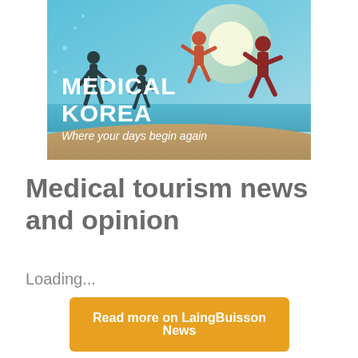[Figure (photo): Medical Korea advertisement banner showing a family silhouette running and jumping on a beach at sunset with blue sky and water. Text overlay reads 'MEDICAL KOREA - Where your days begin again' in white bold text.]
Medical tourism news and opinion
Loading...
Read more on LaingBuisson News